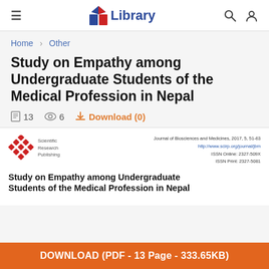Library
Home > Other
Study on Empathy among Undergraduate Students of the Medical Profession in Nepal
13   6   Download (0)
[Figure (screenshot): Preview of journal article header with Scientific Research Publishing logo and journal citation info]
Study on Empathy among Undergraduate Students of the Medical Profession in Nepal
DOWNLOAD (PDF - 13 Page - 333.65KB)